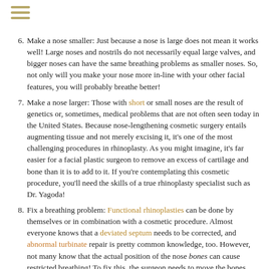[Figure (other): Hamburger menu icon with three horizontal gold/tan bars]
6. Make a nose smaller: Just because a nose is large does not mean it works well! Large noses and nostrils do not necessarily equal large valves, and bigger noses can have the same breathing problems as smaller noses. So, not only will you make your nose more in-line with your other facial features, you will probably breathe better!
7. Make a nose larger: Those with short or small noses are the result of genetics or, sometimes, medical problems that are not often seen today in the United States. Because nose-lengthening cosmetic surgery entails augmenting tissue and not merely excising it, it's one of the most challenging procedures in rhinoplasty. As you might imagine, it's far easier for a facial plastic surgeon to remove an excess of cartilage and bone than it is to add to it. If you're contemplating this cosmetic procedure, you'll need the skills of a true rhinoplasty specialist such as Dr. Yagoda!
8. Fix a breathing problem: Functional rhinoplasties can be done by themselves or in combination with a cosmetic procedure. Almost everyone knows that a deviated septum needs to be corrected, and abnormal turbinate repair is pretty common knowledge, too. However, not many know that the actual position of the nose bones can cause restricted breathing! To fix this, the surgeon needs to move the bones slightly out to allow adequate air passage.
9. Fix a cleft nose: Cleft noses are genetic defects that occur in-utero. Treatment requires a team approach with multiple staged procedures